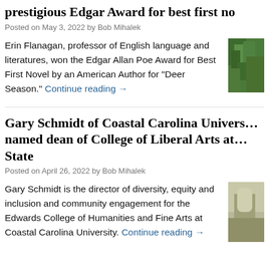prestigious Edgar Award for best first no
Posted on May 3, 2022 by Bob Mihalek
Erin Flanagan, professor of English language and literatures, won the Edgar Allan Poe Award for Best First Novel by an American Author for “Deer Season.” Continue reading →
[Figure (photo): Photo of greenery/plants, partially cropped at right edge]
Gary Schmidt of Coastal Carolina Univers… named dean of College of Liberal Arts at… State
Posted on April 26, 2022 by Bob Mihalek
Gary Schmidt is the director of diversity, equity and inclusion and community engagement for the Edwards College of Humanities and Fine Arts at Coastal Carolina University. Continue reading →
[Figure (photo): Photo of a person, partially cropped at right edge, olive/tan tones]